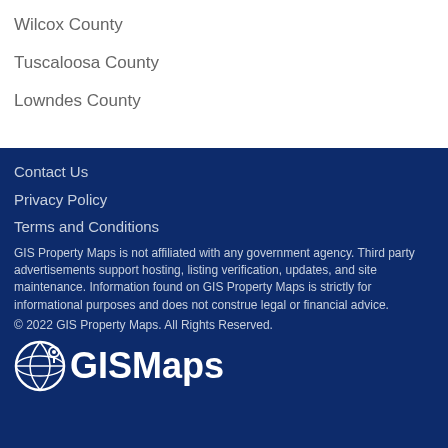Wilcox County
Tuscaloosa County
Lowndes County
Contact Us
Privacy Policy
Terms and Conditions
GIS Property Maps is not affiliated with any government agency. Third party advertisements support hosting, listing verification, updates, and site maintenance. Information found on GIS Property Maps is strictly for informational purposes and does not construe legal or financial advice.
© 2022 GIS Property Maps. All Rights Reserved.
[Figure (logo): GISMaps logo with globe icon and bold white text on dark blue background]